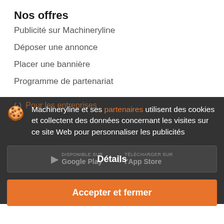Nos offres
Publicité sur Machineryline
Déposer une annonce
Placer une bannière
Programme de partenariat
Machineryline et ses partenaires utilisent des cookies et collectent des données concernant les visites sur ce site Web pour personnaliser les publicités
Détails
Accepter et fermer